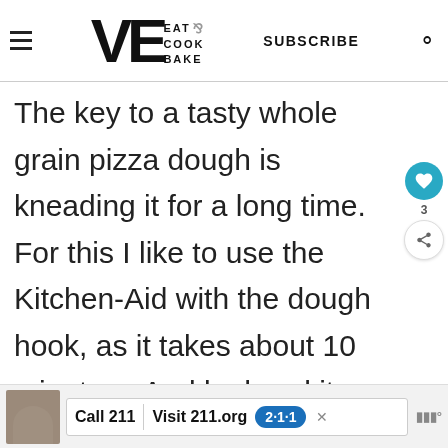VE EAT COOK BAKE — SUBSCRIBE
The key to a tasty whole grain pizza dough is kneading it for a long time.  For this I like to use the Kitchen-Aid with the dough hook, as it takes about 10 minutes.  And by hand it would probably take a little longer.
[Figure (screenshot): Call 211 | Visit 211.org advertisement banner with blue 2-1-1 badge logo and child photo]